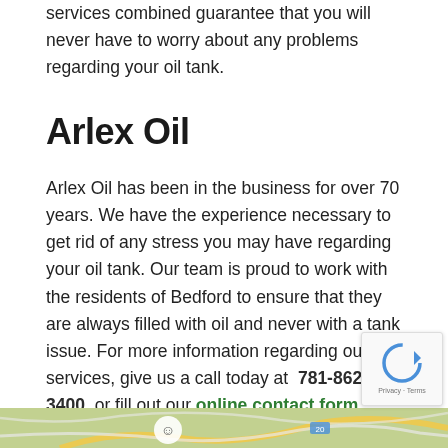services combined guarantee that you will never have to worry about any problems regarding your oil tank.
Arlex Oil
Arlex Oil has been in the business for over 70 years. We have the experience necessary to get rid of any stress you may have regarding your oil tank. Our team is proud to work with the residents of Bedford to ensure that they are always filled with oil and never with a tank issue. For more information regarding our services, give us a call today at 781-862-3400, or fill out our online contact form.
[Figure (map): Street map showing a location, partially visible at the bottom of the page]